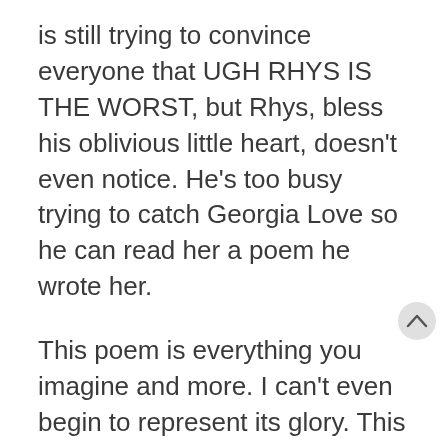is still trying to convince everyone that UGH RHYS IS THE WORST, but Rhys, bless his oblivious little heart, doesn't even notice. He's too busy trying to catch Georgia Love so he can read her a poem he wrote her.
This poem is everything you imagine and more. I can't even begin to represent its glory. This is a moment that you need to experience for yourselves. Suffice it to say this poem is absolutely going on my next syllabus. I don't care what the course is. Rhys's poem will be studied. And perpetuated. It's going straight into the